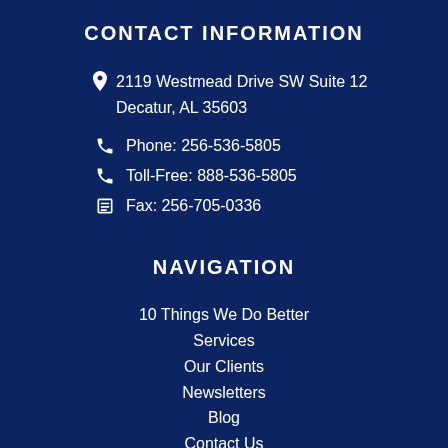CONTACT INFORMATION
2119 Westmead Drive SW Suite 12
Decatur, AL 35603
Phone: 256-536-5805
Toll-Free: 888-536-5805
Fax: 256-705-0336
NAVIGATION
10 Things We Do Better
Services
Our Clients
Newsletters
Blog
Contact Us
SOCIAL MEDIA